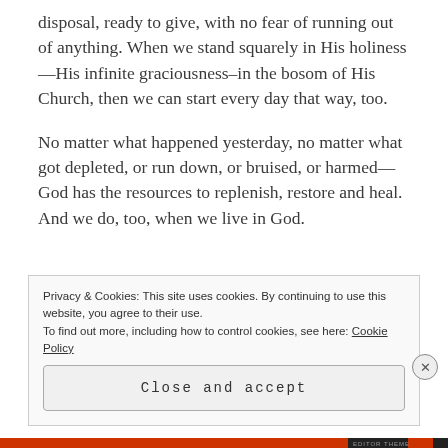disposal, ready to give, with no fear of running out of anything. When we stand squarely in His holiness—His infinite graciousness–in the bosom of His Church, then we can start every day that way, too.
No matter what happened yesterday, no matter what got depleted, or run down, or bruised, or harmed—God has the resources to replenish, restore and heal. And we do, too, when we live in God.
Privacy & Cookies: This site uses cookies. By continuing to use this website, you agree to their use.
To find out more, including how to control cookies, see here: Cookie Policy
Close and accept